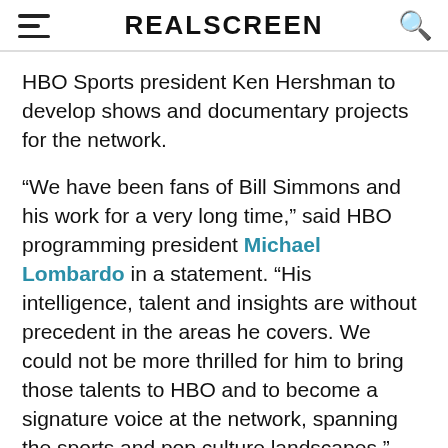REALSCREEN
HBO Sports president Ken Hershman to develop shows and documentary projects for the network.
“We have been fans of Bill Simmons and his work for a very long time,” said HBO programming president Michael Lombardo in a statement. “His intelligence, talent and insights are without precedent in the areas he covers. We could not be more thrilled for him to bring those talents to HBO and to become a signature voice at the network, spanning the sports and pop culture landscapes.”